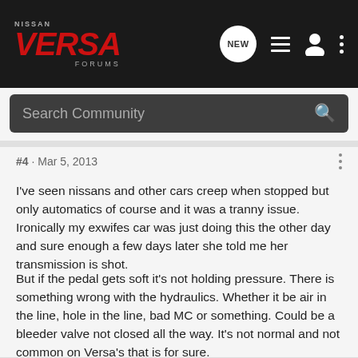[Figure (screenshot): Nissan Versa Forums navigation bar with logo, NEW button, list icon, profile icon, and more options dots]
Search Community
#4 · Mar 5, 2013
I've seen nissans and other cars creep when stopped but only automatics of course and it was a tranny issue. Ironically my exwifes car was just doing this the other day and sure enough a few days later she told me her transmission is shot.
But if the pedal gets soft it's not holding pressure. There is something wrong with the hydraulics. Whether it be air in the line, hole in the line, bad MC or something. Could be a bleeder valve not closed all the way. It's not normal and not common on Versa's that is for sure.